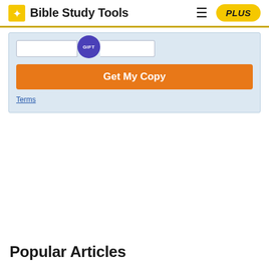Bible Study Tools
[Figure (screenshot): Promotional box with input field, GIFT badge, and orange 'Get My Copy' button on light blue background]
Terms
Popular Articles